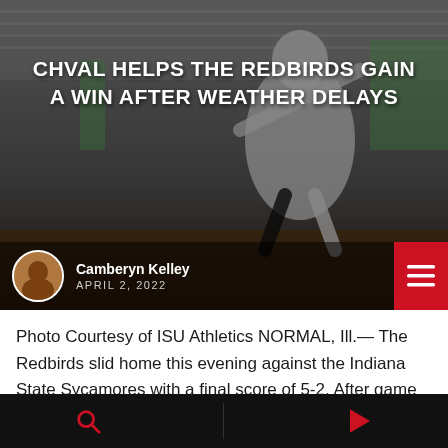[Figure (photo): Hero image of a softball player in white uniform mid-action on a baseball/softball field, with stadium seating in background. Dark overlay applied to image.]
CHVAL HELPS THE REDBIRDS GAIN A WIN AFTER WEATHER DELAYS
Camberyn Kelley
APRIL 2, 2022
Photo Courtesy of ISU Athletics NORMAL, Ill.— The Redbirds slid home this evening against the Indiana State Sycamores with a final score of 5-2. After game delays for the last two weeks and today's game being switched to a single— the Redbirds prevailed with a win in seven innings. The game started fast with many outs